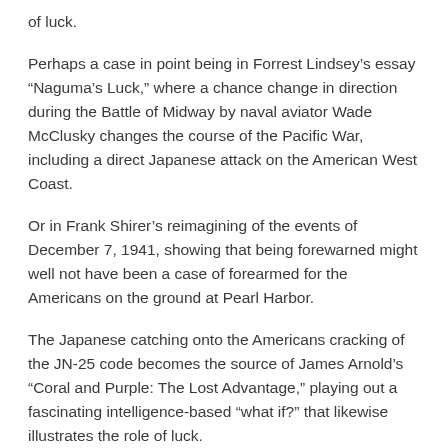of luck.
Perhaps a case in point being in Forrest Lindsey’s essay “Naguma’s Luck,” where a chance change in direction during the Battle of Midway by naval aviator Wade McClusky changes the course of the Pacific War, including a direct Japanese attack on the American West Coast.
Or in Frank Shirer’s reimagining of the events of December 7, 1941, showing that being forewarned might well not have been a case of forearmed for the Americans on the ground at Pearl Harbor.
The Japanese catching onto the Americans cracking of the JN-25 code becomes the source of James Arnold’s “Coral and Purple: The Lost Advantage,” playing out a fascinating intelligence-based “what if?” that likewise illustrates the role of luck.